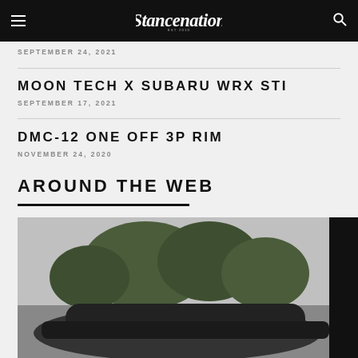Stancenation
SEPTEMBER 24, 2021
MOON TECH X SUBARU WRX STI
SEPTEMBER 17, 2021
DMC-12 ONE OFF 3P RIM
NOVEMBER 24, 2020
AROUND THE WEB
[Figure (photo): Car photograph partially visible, dark vehicle with trees in background, outdoor setting]